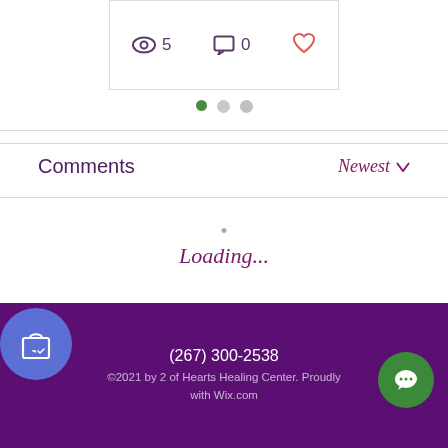[Figure (screenshot): Card with view count (eye icon, 5), comment icon (0), and red heart like icon]
[Figure (other): Pagination dots: green filled dot, two light gray dots]
Comments
Newest ∨
Loading...
(267) 300-2538
©2021 by 2 of Hearts Healing Center. Proudly with Wix.com